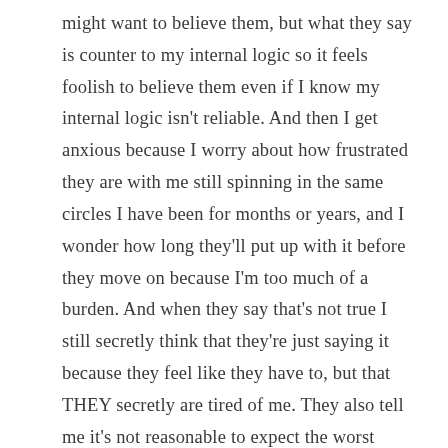might want to believe them, but what they say is counter to my internal logic so it feels foolish to believe them even if I know my internal logic isn't reliable. And then I get anxious because I worry about how frustrated they are with me still spinning in the same circles I have been for months or years, and I wonder how long they'll put up with it before they move on because I'm too much of a burden. And when they say that's not true I still secretly think that they're just saying it because they feel like they have to, but that THEY secretly are tired of me. They also tell me it's not reasonable to expect the worst outcome from every situation, but the disappointment of a broken hope is so much more crushing than the confirmation of a pessimistic expectation, so thinking more positively just doesn't feel worth it.